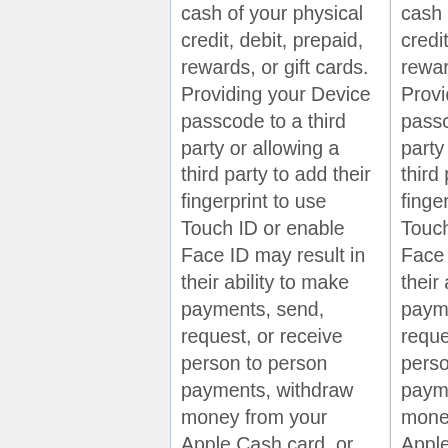cash of your physical credit, debit, prepaid, rewards, or gift cards. Providing your Device passcode to a third party or allowing a third party to add their fingerprint to use Touch ID or enable Face ID may result in their ability to make payments, send, request, or receive person to person payments, withdraw money from your Apple Cash card, or
cash of your physical credit, debit, prepaid, rewards, or gift cards. Providing your Device passcode to a third party or allowing a third party to add their fingerprint to use Touch ID or enable Face ID may result in their ability to make payments, send, request, or receive person to person payments, withdraw money from your Apple Cash card, or